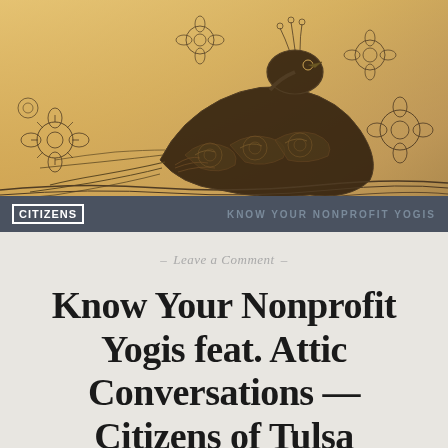[Figure (illustration): Decorative line art illustration of a peacock or bird figure with intricate floral and feather patterns against a warm golden/amber background]
CITIZENS   KNOW YOUR NONPROFIT YOGIS
– Leave a Comment –
Know Your Nonprofit Yogis feat. Attic Conversations — Citizens of Tulsa